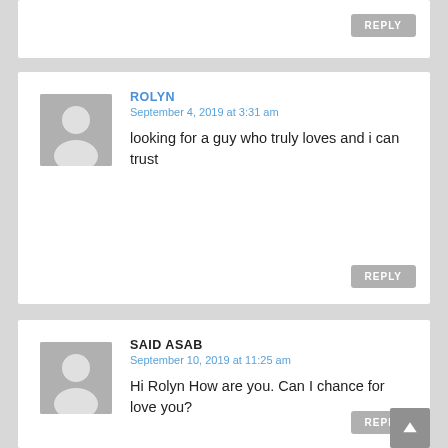REPLY
ROLYN
September 4, 2019 at 3:31 am
looking for a guy who truly loves and i can trust
REPLY
SAID ASAB
September 10, 2019 at 11:25 am
Hi Rolyn How are you. Can I chance for love you?
REPLY